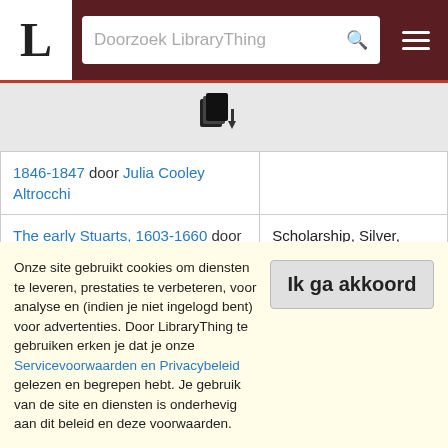Doorzoek LibraryThing
[Figure (logo): Books/documents icon with arrow]
| Boek | Prijs/Categorie |
| --- | --- |
| 1846-1847 door Julia Cooley Altrocchi |  |
| The early Stuarts, 1603-1660 door Godfrey Davies | Scholarship, Silver, 1937 |
| The Education of Hyman Kaplan door Leonard Q. Ross | General Literature, Silver, 1937 |
| Men of Mathematics door E. T. Bell | Scholarship, Gold, 1937 |
| The Big Four: The Story of ... |  |
Onze site gebruikt cookies om diensten te leveren, prestaties te verbeteren, voor analyse en (indien je niet ingelogd bent) voor advertenties. Door LibraryThing te gebruiken erken je dat je onze Servicevoorwaarden en Privacybeleid gelezen en begrepen hebt. Je gebruik van de site en diensten is onderhevig aan dit beleid en deze voorwaarden.